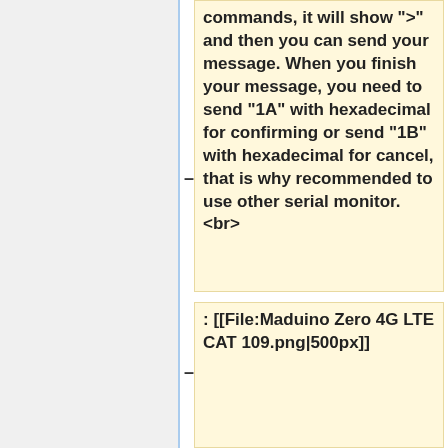commands, it will show ">" and then you can send your message. When you finish your message, you need to send "1A" with hexadecimal for confirming or send "1B" with hexadecimal for cancel, that is why recommended to use other serial monitor. <br>
: [[File:Maduino Zero 4G LTE CAT 109.png|500px]]